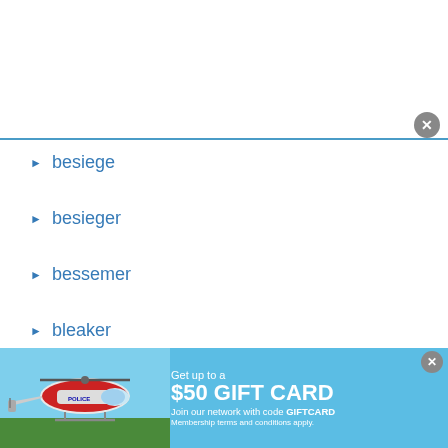[Figure (screenshot): White search box area at top with blue bottom border and grey close button]
besiege
besieger
bessemer
bleaker
breaker
more ▶
Privacy Policy
© 2011-2022 DomainOptions, Inc. Trademarks belong to their respective owners. All rights reserved.
[Figure (infographic): Advertisement banner: helicopter image on left, blue background, Get up to a $50 GIFT CARD, Join our network with code GIFTCARD, Membership terms and conditions apply.]